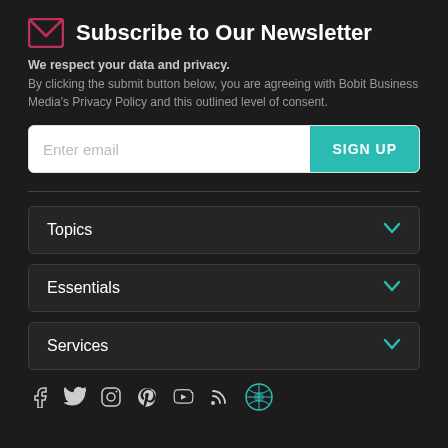Subscribe to Our Newsletter
We respect your data and privacy. By clicking the submit button below, you are agreeing with Bobit Business Media's Privacy Policy and this outlined level of consent.
[Figure (screenshot): Email input field with placeholder 'Enter email' and a teal 'SIGN UP' button]
Topics
Essentials
Services
[Figure (infographic): Social media icons: Facebook, Twitter, Instagram, Pinterest, YouTube, RSS, and a globe/network icon]